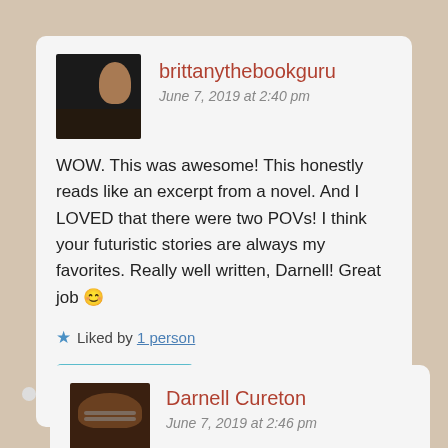brittanythebookguru
June 7, 2019 at 2:40 pm
WOW. This was awesome! This honestly reads like an excerpt from a novel. And I LOVED that there were two POVs! I think your futuristic stories are always my favorites. Really well written, Darnell! Great job 😊
★ Liked by 1 person
Reply
Darnell Cureton
June 7, 2019 at 2:46 pm